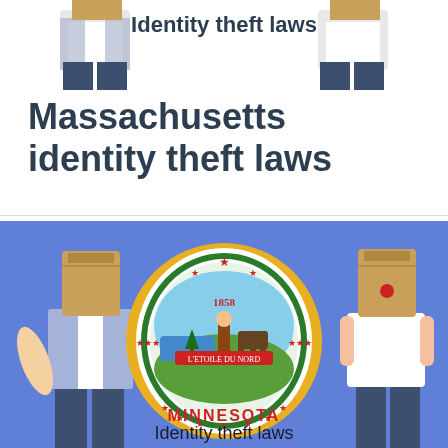[Figure (illustration): Two people with paper bags over their heads standing on either side of a Massachusetts identity theft laws graphic. Top portion of image visible with 'Identity theft laws' text and two figures.]
Massachusetts identity theft laws
[Figure (illustration): Blue background with Minnesota state seal in the center (circular seal with 'MINNESOTA' text and year 1858), flanked by two people with paper bags over their heads. Text below reads 'Identity theft laws'.]